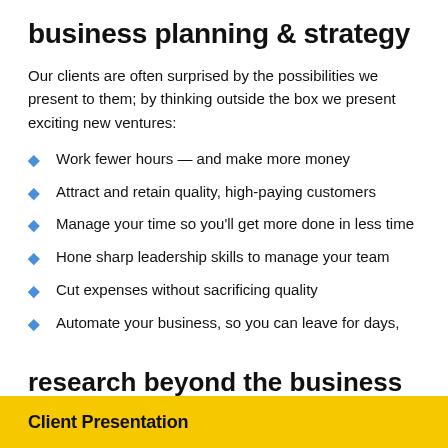business planning & strategy
Our clients are often surprised by the possibilities we present to them; by thinking outside the box we present exciting new ventures:
Work fewer hours — and make more money
Attract and retain quality, high-paying customers
Manage your time so you'll get more done in less time
Hone sharp leadership skills to manage your team
Cut expenses without sacrificing quality
Automate your business, so you can leave for days,
research beyond the business plan
Client Presentation